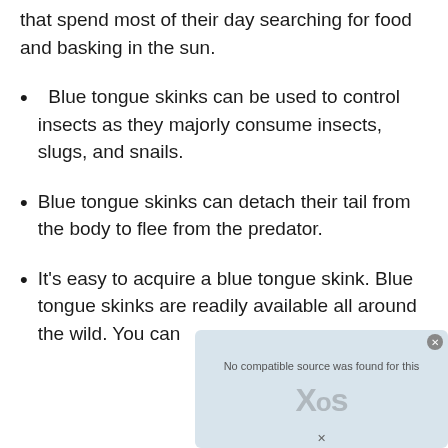that spend most of their day searching for food and basking in the sun.
Blue tongue skinks can be used to control insects as they majorly consume insects, slugs, and snails.
Blue tongue skinks can detach their tail from the body to flee from the predator.
It's easy to acquire a blue tongue skink. Blue tongue skinks are readily available all around the wild. You can
[Figure (screenshot): Video player overlay showing error message 'No compatible source was found for this' with XOS logo watermark and close button]